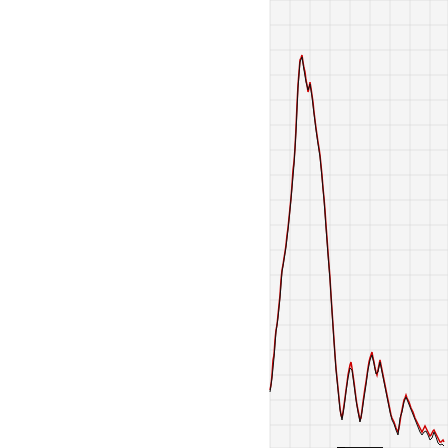[Figure (continuous-plot): Daily candlestick/line chart of $NIKK (Nikkei index) showing a peak followed by a major decline, with two annotated regions labeled #1 and #2 near the bottom right indicating chart patterns. The chart has a grid background, with red and black price bars.]
Wha l par is sti The